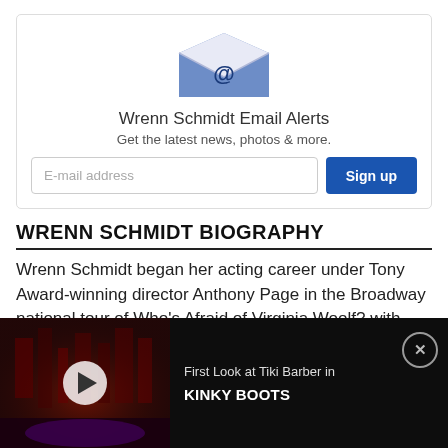[Figure (infographic): Email alert signup box with envelope/@ icon, title 'Wrenn Schmidt Email Alerts', subtitle 'Get the latest news, photos & more.', an email input field, and a blue 'Sign up' button.]
WRENN SCHMIDT BIOGRAPHY
Wrenn Schmidt began her acting career under Tony Award-winning director Anthony Page in the Broadway national tour of Who's Afraid of Virginia Woolf? with Kathleen Turner and
[Figure (screenshot): Dark video bar at the bottom showing a stage scene from Kinky Boots with text 'First Look at Tiki Barber in KINKY BOOTS' and a play button.]